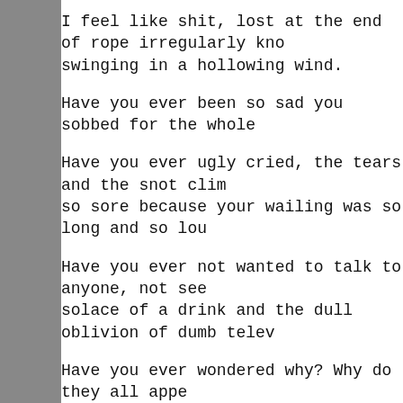I feel like shit, lost at the end of rope irregularly knotted, swinging in a hollowing wind.
Have you ever been so sad you sobbed for the whole
Have you ever ugly cried, the tears and the snot clim so sore because your wailing was so long and so lou
Have you ever not wanted to talk to anyone, not see solace of a drink and the dull oblivion of dumb telev
Have you ever wondered why? Why do they all appe ends up the same? Why, when I thought things were up so wrong?
I know what I want, yet I never seem to get it.
I thought I was Barney. Or maybe Robin. Or maybe end up becoming Ted? And not flashbacks Ted. Abou a new start because fuck why does my life suck as c